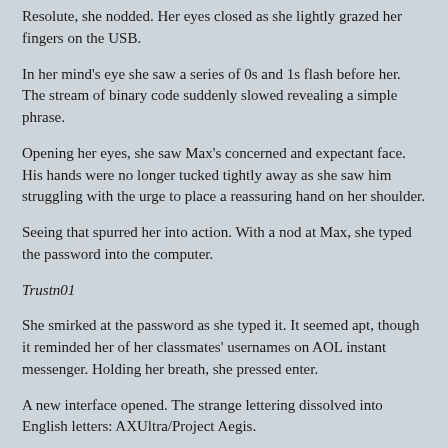Resolute, she nodded. Her eyes closed as she lightly grazed her fingers on the USB.
In her mind's eye she saw a series of 0s and 1s flash before her. The stream of binary code suddenly slowed revealing a simple phrase.
Opening her eyes, she saw Max's concerned and expectant face. His hands were no longer tucked tightly away as she saw him struggling with the urge to place a reassuring hand on her shoulder.
Seeing that spurred her into action. With a nod at Max, she typed the password into the computer.
Trustn01
She smirked at the password as she typed it. It seemed apt, though it reminded her of her classmates' usernames on AOL instant messenger. Holding her breath, she pressed enter.
A new interface opened. The strange lettering dissolved into English letters: AXUltra/Project Aegis.
Puzzled, she looked at Max, but he was equally flummoxed.
Beneath the name she saw an executive summary detailing the testing